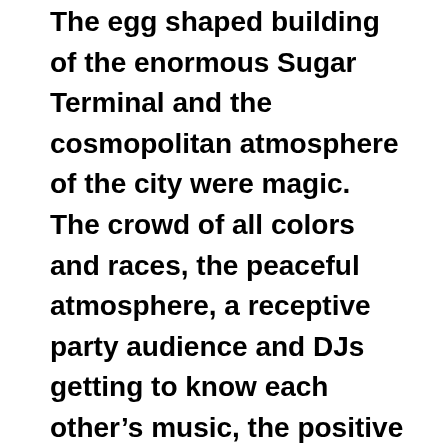The egg shaped building of the enormous Sugar Terminal and the cosmopolitan atmosphere of the city were magic. The crowd of all colors and races, the peaceful atmosphere, a receptive party audience and DJs getting to know each other's music, the positive impact, have made me fall in love with Durban and South Africa ever since.
Since then I have dived deeply into South African music. I even started this blog to try and understand the unexplored history of South African music. I clearly say try, because there is still so much to discover. Also in the